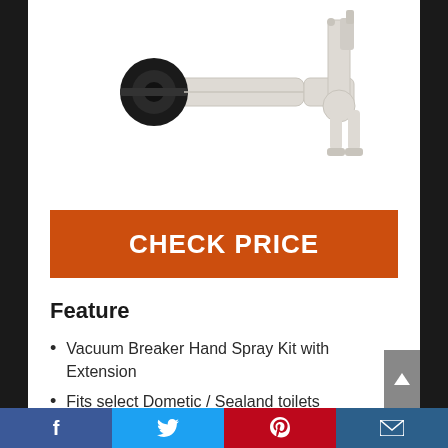[Figure (photo): White plastic Vacuum Breaker Hand Spray Kit with Extension showing pipes, connectors, and a black wheel/valve component on white background]
CHECK PRICE
Feature
Vacuum Breaker Hand Spray Kit with Extension
Fits select Dometic / Sealand toilets